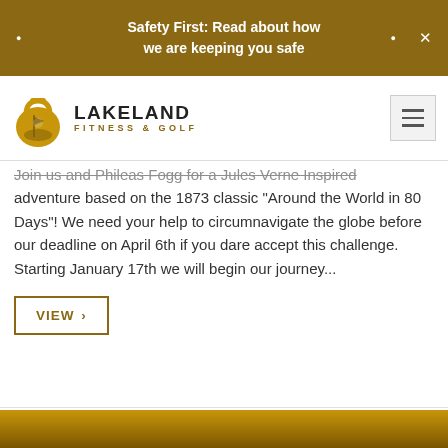Safety First: Read about how we are keeping you safe
[Figure (logo): Lakeland Fitness & Golf logo with kettlebell and golf flag icon]
Join us and Phileas Fogg for a Jules Verne Inspired adventure based on the 1873 classic “Around the World in 80 Days”! We need your help to circumnavigate the globe before our deadline on April 6th if you dare accept this challenge. Starting January 17th we will begin our journey...
VIEW ›